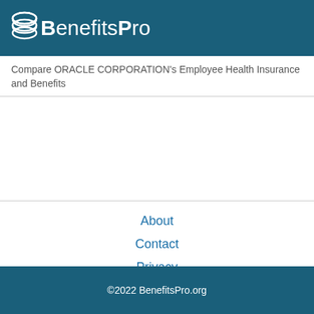BenefitsPro
Compare ORACLE CORPORATION's Employee Health Insurance and Benefits
About
Contact
Privacy
Terms
©2022 BenefitsPro.org